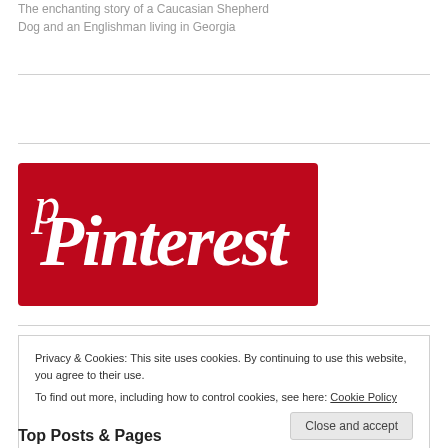The enchanting story of a Caucasian Shepherd Dog and an Englishman living in Georgia
My Tweets
[Figure (logo): Pinterest logo — red background with white cursive 'Pinterest' text]
Privacy & Cookies: This site uses cookies. By continuing to use this website, you agree to their use.
To find out more, including how to control cookies, see here: Cookie Policy
Top Posts & Pages